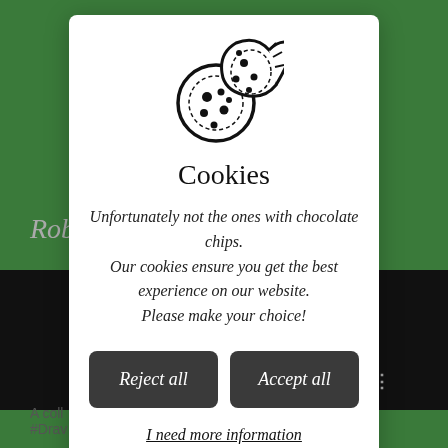[Figure (illustration): Cookie consent modal overlay on a green website background. The modal contains a cookie icon at the top, title 'Cookies', descriptive italic text, two dark buttons labeled 'Reject all' and 'Accept all', and an underlined link 'I need more information'.]
Cookies
Unfortunately not the ones with chocolate chips. Our cookies ensure you get the best experience on our website. Please make your choice!
Reject all
Accept all
I need more information